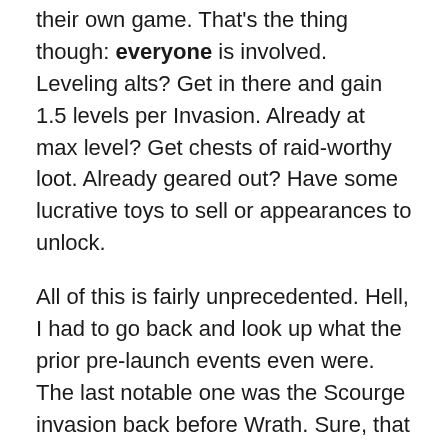their own game. That's the thing though: everyone is involved. Leveling alts? Get in there and gain 1.5 levels per Invasion. Already at max level? Get chests of raid-worthy loot. Already geared out? Have some lucrative toys to sell or appearances to unlock.
All of this is fairly unprecedented. Hell, I had to go back and look up what the prior pre-launch events even were. The last notable one was the Scourge invasion back before Wrath. Sure, that was fun for a time – I still remember actually role-playing a paladin as I griefed players trying to turn into undead (by Cleansing them) and/or releasing their shackled souls once they turned. What of the others? An Elemental Invasion for Cataclysm was just a convenient way to stock up on, erm, elementals. Mists was… Theramore scenario? I still haven't seen that in-game, and I'm not even sure I can.